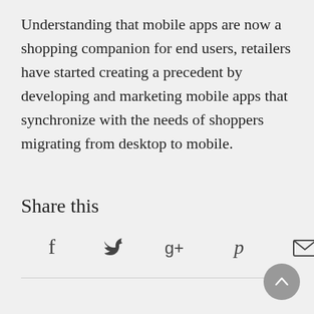Understanding that mobile apps are now a shopping companion for end users, retailers have started creating a precedent by developing and marketing mobile apps that synchronize with the needs of shoppers migrating from desktop to mobile.
Share this
[Figure (infographic): Social sharing icons: Facebook (f), Twitter (bird), Google+ (g+), Pinterest (p), Email (envelope)]